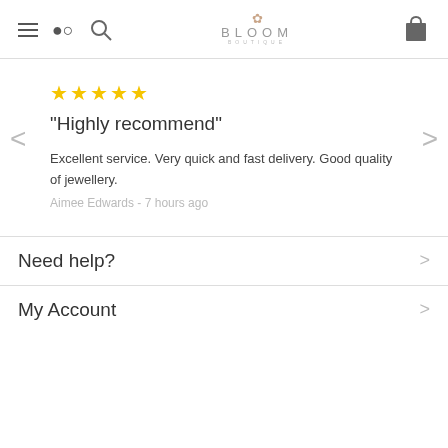Bloom Boutique — navigation header with hamburger menu, search, logo, and bag icon
★★★★★
"Highly recommend"
Excellent service. Very quick and fast delivery. Good quality of jewellery.
Aimee Edwards - 7 hours ago
Need help?
My Account